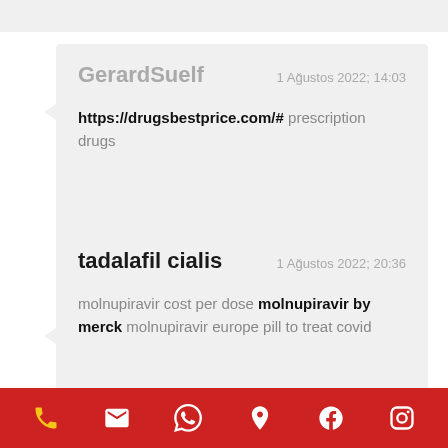GerardSuelf — 1 Ağustos 2022; 14:03 — https://drugsbestprice.com/# prescription drugs
tadalafil cialis — 1 Ağustos 2022; 20:36 — molnupiravir cost per dose molnupiravir by merck molnupiravir europe pill to treat covid
Phone, Email, WhatsApp, Location, Facebook, Instagram icons